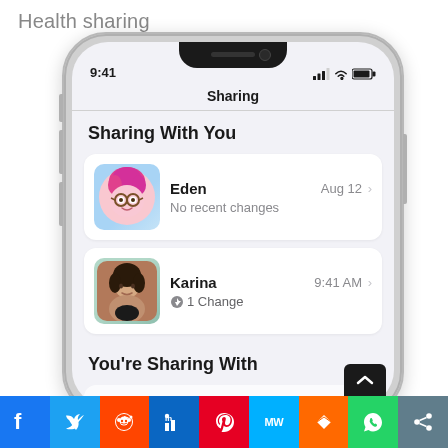Health sharing
[Figure (screenshot): iPhone screenshot showing Apple Health Sharing screen with 'Sharing With You' section listing Eden (Aug 12, No recent changes) and Karina (9:41 AM, 1 Change), and 'You're Sharing With' section partially visible. Social sharing buttons bar at bottom: Facebook, Twitter, Reddit, LinkedIn, Pinterest, MedWatch, Mix, WhatsApp, Share.]